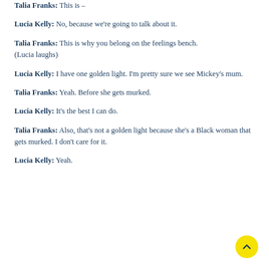Talia Franks: This is –
Lucia Kelly: No, because we're going to talk about it.
Talia Franks: This is why you belong on the feelings bench. (Lucia laughs)
Lucia Kelly: I have one golden light. I'm pretty sure we see Mickey's mum.
Talia Franks: Yeah. Before she gets murked.
Lucia Kelly: It's the best I can do.
Talia Franks: Also, that's not a golden light because she's a Black woman that gets murked. I don't care for it.
Lucia Kelly: Yeah.